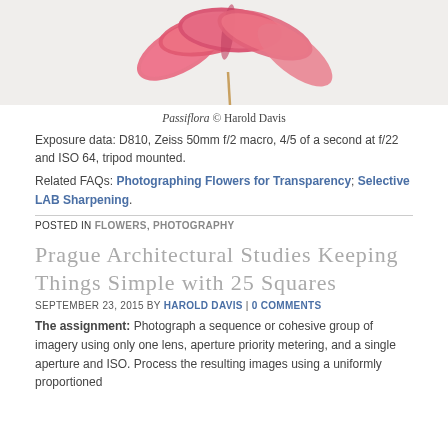[Figure (photo): Close-up photograph of pink Passiflora flower petals on white background, showing petal details and veining]
Passiflora © Harold Davis
Exposure data: D810, Zeiss 50mm f/2 macro, 4/5 of a second at f/22 and ISO 64, tripod mounted.
Related FAQs: Photographing Flowers for Transparency; Selective LAB Sharpening.
POSTED IN FLOWERS, PHOTOGRAPHY
Prague Architectural Studies Keeping Things Simple with 25 Squares
SEPTEMBER 23, 2015 BY HAROLD DAVIS | 0 COMMENTS
The assignment: Photograph a sequence or cohesive group of imagery using only one lens, aperture priority metering, and a single aperture and ISO. Process the resulting images using a uniformly proportioned